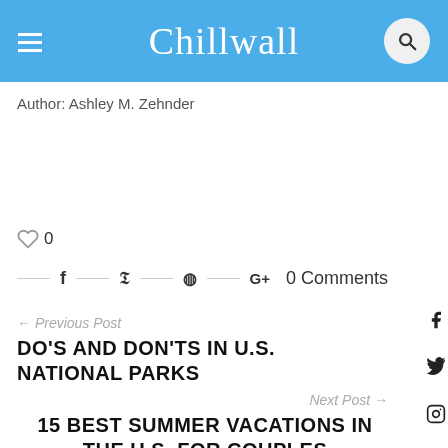Chillwall
Author: Ashley M. Zehnder
0
0 Comments
← Previous Post
DO'S AND DON'TS IN U.S. NATIONAL PARKS
Next Post →
15 BEST SUMMER VACATIONS IN THE U.S. FOR COUPLES